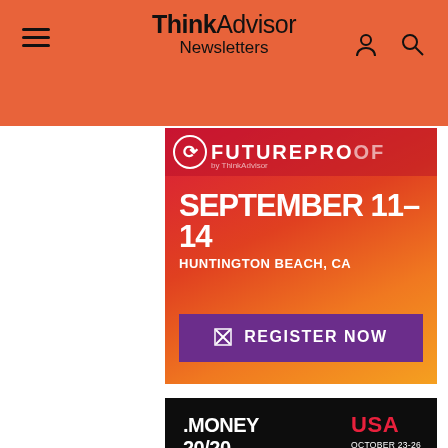ThinkAdvisor Newsletters
[Figure (illustration): FutureProof event advertisement: September 11-14, Huntington Beach, CA. Purple Register Now button.]
[Figure (illustration): Money 20/20 USA event advertisement: October 23-26, Las Vegas. Be Part of Fintech's Future.]